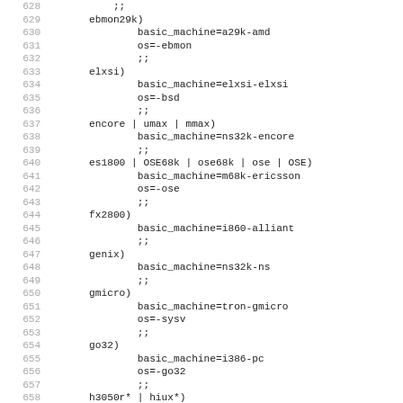Code listing lines 628-659 showing shell script case statement entries for various machine types including ebmon29k, elxsi, encore/umax/mmax, es1800/OSE68k/ose68k/ose/OSE, fx2800, genix, gmicro, go32, h3050r*/hiux*